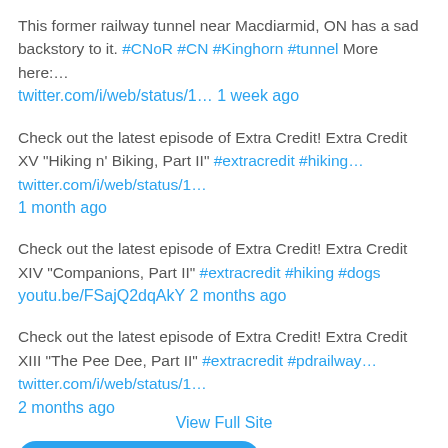This former railway tunnel near Macdiarmid, ON has a sad backstory to it. #CNoR #CN #Kinghorn #tunnel More here:… twitter.com/i/web/status/1… 1 week ago
Check out the latest episode of Extra Credit! Extra Credit XV "Hiking n' Biking, Part II" #extracredit #hiking… twitter.com/i/web/status/1… 1 month ago
Check out the latest episode of Extra Credit! Extra Credit XIV "Companions, Part II" #extracredit #hiking #dogs youtu.be/FSajQ2dqAkY 2 months ago
Check out the latest episode of Extra Credit! Extra Credit XIII "The Pee Dee, Part II" #extracredit #pdrailway… twitter.com/i/web/status/1… 2 months ago
Follow @Padw_railway
View Full Site